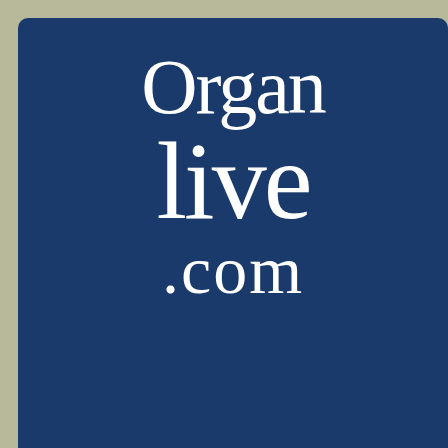[Figure (logo): OrganLive.com website logo — white serif text on dark navy blue background reading 'Organ live .com']
Home | News | Now Playing | Library | Donors | FAQ
Baroque Organ Music, Vol 1
Album Rating:(4)
Log in to rate this Album